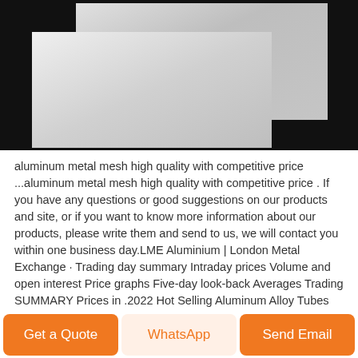[Figure (photo): Close-up photo of two light-gray metallic aluminum sheets against a black background, showing overlapping flat surfaces with a matte/slightly textured finish.]
aluminum metal mesh high quality with competitive price ...aluminum metal mesh high quality with competitive price . If you have any questions or good suggestions on our products and site, or if you want to know more information about our products, please write them and send to us, we will contact you within one business day.LME Aluminium | London Metal Exchange · Trading day summary Intraday prices Volume and open interest Price graphs Five-day look-back Averages Trading SUMMARY Prices in .2022 Hot Selling Aluminum Alloy Tubes Cheap Aluminum .2022 Hot Selling Aluminum Alloy Tubes Cheap Aluminum Prices, Find Complete Details about 2022 Hot Selling Aluminum Alloy
[Figure (other): Three buttons: 'Get a Quote' (orange), 'WhatsApp' (light orange/cream), 'Send Email' (orange)]